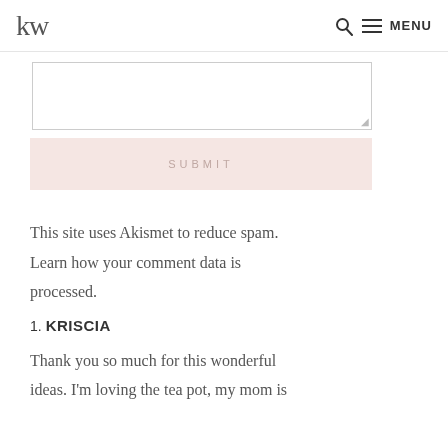KW MENU
[Comment textarea input box]
SUBMIT
This site uses Akismet to reduce spam. Learn how your comment data is processed.
1. KRISCIA
Thank you so much for this wonderful ideas. I'm loving the tea pot, my mom is